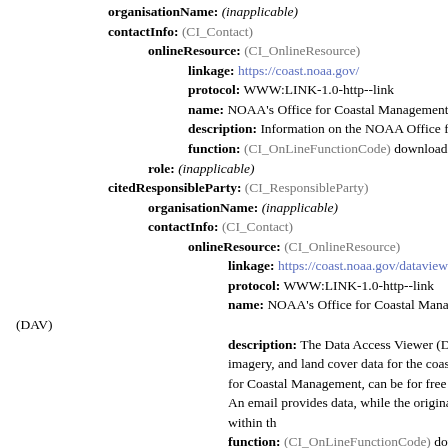organisationName: (inapplicable)
contactInfo: (CI_Contact)
onlineResource: (CI_OnlineResource)
linkage: https://coast.noaa.gov/
protocol: WWW:LINK-1.0-http--link
name: NOAA's Office for Coastal Management (O
description: Information on the NOAA Office for
function: (CI_OnLineFunctionCode) download
role: (inapplicable)
citedResponsibleParty: (CI_ResponsibleParty)
organisationName: (inapplicable)
contactInfo: (CI_Contact)
onlineResource: (CI_OnlineResource)
linkage: https://coast.noaa.gov/dataviewer/#/
protocol: WWW:LINK-1.0-http--link
name: NOAA's Office for Coastal Management (O (DAV)
description: The Data Access Viewer (DAV) allows download elevation, imagery, and land cover data for the coastal U data, hosted by the NOAA Office for Coastal Management, can be for free download through a checkout interface. An email provides data, while the original data set is available through a link within th
function: (CI_OnLineFunctionCode) download
role: (inapplicable)
presentationForm: (unknown)
abstract: This metadata record describes the classified her